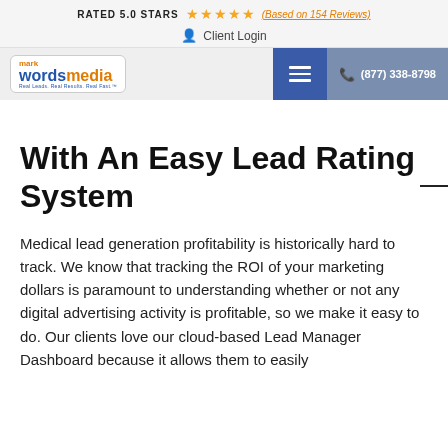RATED 5.0 STARS ★★★★★ (Based on 154 Reviews)
Client Login
mark wordsmedia | (877) 338-8798
With An Easy Lead Rating System
Medical lead generation profitability is historically hard to track. We know that tracking the ROI of your marketing dollars is paramount to understanding whether or not any digital advertising activity is profitable, so we make it easy to do. Our clients love our cloud-based Lead Manager Dashboard because it allows them to easily